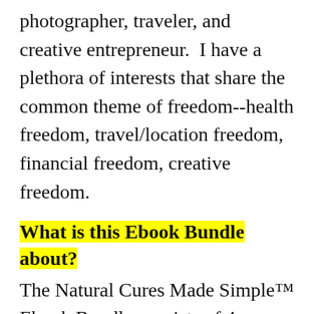photographer, traveler, and creative entrepreneur.  I have a plethora of interests that share the common theme of freedom--health freedom, travel/location freedom, financial freedom, creative freedom.
What is this Ebook Bundle about?
The Natural Cures Made Simple™ Ebook Bundle consists of 4 ebooks that I've written in the "natural cures" space--The Shift Diet, Mindset Diet Secrets, 30 Days to SuperPowers, Sleep Without Waking Up To Pee--and 5 ebooks that I've written in the "self-development" space--The One Thing, The Powerful Technique, The 3 Secrets of Happiness, Comfort Magnets, Fix Your Life (in 5 minutes or less).  Putting them together in a bundle and